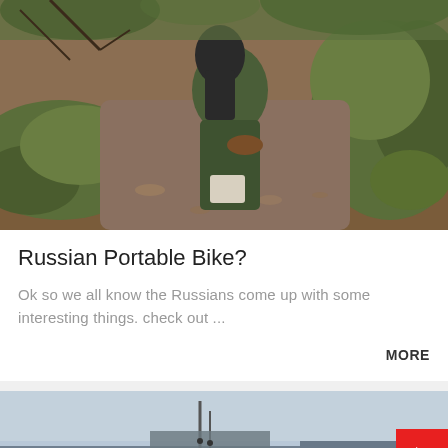[Figure (photo): Outdoor photo showing a person or object with military-style camouflage gear leaning against a mossy rock or hillside, surrounded by dirt and fallen leaves.]
Russian Portable Bike?
Ok so we all know the Russians come up with some interesting things. check out ...
MORE
[Figure (photo): Partial photo at the bottom showing an outdoor scene with a grey overcast sky, some structures or poles visible, with a red button/icon overlay in the bottom-right corner.]